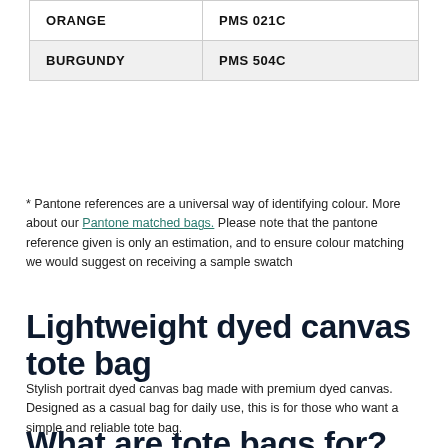| Color | PMS Code |
| --- | --- |
| ORANGE | PMS 021C |
| BURGUNDY | PMS 504C |
* Pantone references are a universal way of identifying colour. More about our Pantone matched bags. Please note that the pantone reference given is only an estimation, and to ensure colour matching we would suggest on receiving a sample swatch
Lightweight dyed canvas tote bag
Stylish portrait dyed canvas bag made with premium dyed canvas. Designed as a casual bag for daily use, this is for those who want a simple and reliable tote bag.
What are tote bags for?